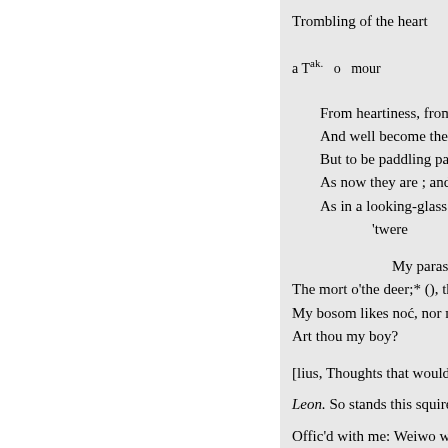Trombling of the heart
a Tak.   o   mour
From heartiness, from boun
And well become the agent:
But to be paddling palms, a
As now they are ; and maki
As in a looking-glass ;-and t
'twere
My paras
The mort o'the deer;* (), tha
My bosom likes noć, nor my
Art thou my boy?
[lius, Thoughts that would thic
Leon. So stands this squire Le
Offic'd with me: Weiwo will w
to your graver steps.-Her. thy nos
moine,
(welcome; They say, it's a cop